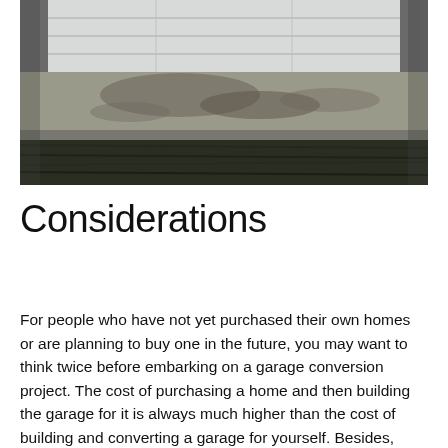[Figure (photo): A photograph of a garage exterior showing a white garage door, concrete apron/driveway, and dark grass in the foreground. Black and white tones dominate.]
Considerations
For people who have not yet purchased their own homes or are planning to buy one in the future, you may want to think twice before embarking on a garage conversion project. The cost of purchasing a home and then building the garage for it is always much higher than the cost of building and converting a garage for yourself. Besides, even if you do not spend that much time on the conversion process, you will be doing it for the rest of your life and your garage will look ugly